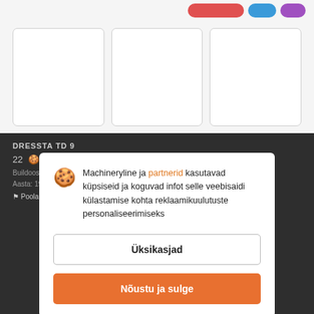[Figure (screenshot): Top navigation bar with colored buttons (red, blue, purple) on light gray background]
[Figure (photo): Three white image placeholder boxes with rounded corners arranged in a row]
DRESSTA TD 9
22
Buildoose:
Aasta: 19
Poola / Częstochowa
Machineryline ja partnerid kasutavad küpsiseid ja koguvad infot selle veebisaidi külastamise kohta reklaamikuulutuste personaliseerimiseks
Üksikasjad
Nõustu ja sulge